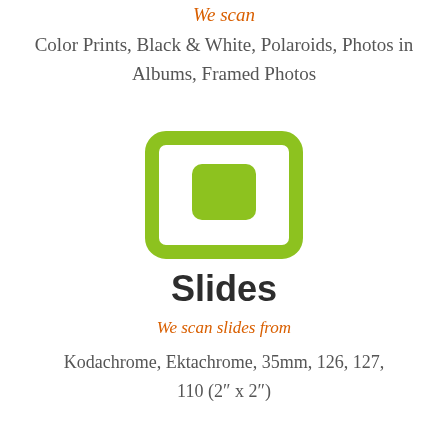We scan
Color Prints, Black & White, Polaroids, Photos in Albums, Framed Photos
[Figure (illustration): Green square icon with a rounded rectangle outer border and a smaller rounded square inside, both in green/yellow-green color, on white background]
Slides
We scan slides from
Kodachrome, Ektachrome, 35mm, 126, 127, 110 (2″ x 2″)